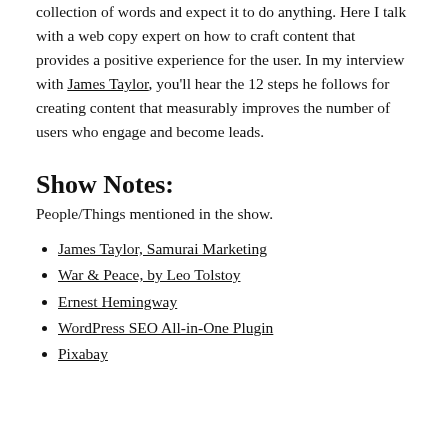collection of words and expect it to do anything. Here I talk with a web copy expert on how to craft content that provides a positive experience for the user. In my interview with James Taylor, you'll hear the 12 steps he follows for creating content that measurably improves the number of users who engage and become leads.
Show Notes:
People/Things mentioned in the show.
James Taylor, Samurai Marketing
War & Peace, by Leo Tolstoy
Ernest Hemingway
WordPress SEO All-in-One Plugin
Pixabay